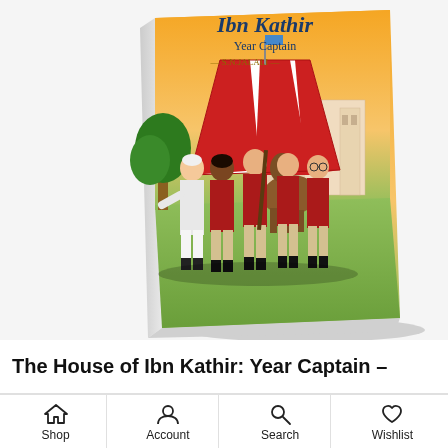[Figure (photo): Book cover of 'The House of Ibn Kathir: Year Captain' by S.N. Jalali. Illustrated cover showing four boys in red uniforms with khaki trousers and dark socks, one boy in traditional white shalwar kameez, a horse, a large red and white striped tent, trees, and a school building in the background under an orange sunset sky.]
The House of Ibn Kathir: Year Captain –
Shop  Account  Search  Wishlist